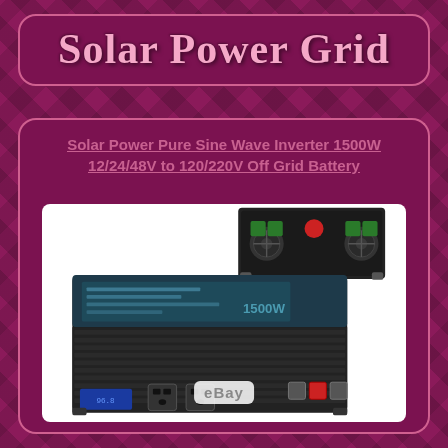Solar Power Grid
Solar Power Pure Sine Wave Inverter 1500W 12/24/48V to 120/220V Off Grid Battery
[Figure (photo): Product photo of a black Solar Power Pure Sine Wave Inverter 1500W device, shown from two angles: front view showing fans, power button, and terminals on top; and main view showing the full unit with LCD display, power outlets, and ventilation grill. eBay watermark visible at bottom.]